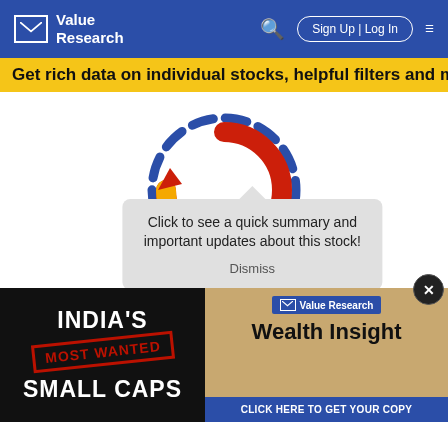[Figure (logo): Value Research logo with envelope icon on blue navigation header with Sign Up | Log In button and hamburger menu]
Get rich data on individual stocks, helpful filters and mo...
[Figure (other): Value Research circular loading/refresh spinner logo with blue dashed outer ring and red/orange/yellow inner arrow ring]
Click to see a quick summary and important updates about this stock!
Dismiss
[Figure (infographic): Advertisement banner: Left side black with INDIA'S MOST WANTED SMALL CAPS text; Right side tan/gold with Value Research Wealth Insight magazine promotion]
CLICK HERE TO GET YOUR COPY